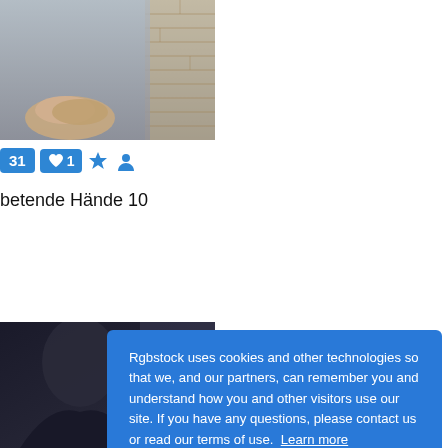[Figure (photo): Top portion of a photo showing a person in a grey hoodie with hands clasped, brick wall in background]
31 ♥1 ★ 👤
betende Hände 10
[Figure (photo): Photo of a person wearing a dark navy sweater, partial face visible]
Rgbstock uses cookies and other technologies so that we, and our partners, can remember you and understand how you and other visitors use our site. If you have any questions, please contact us or read our terms of use.  Learn more
Decline
Got it!